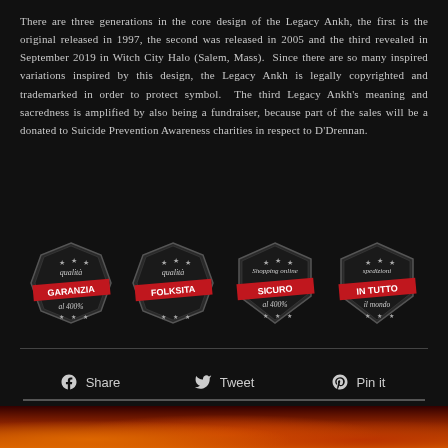There are three generations in the core design of the Legacy Ankh, the first is the original released in 1997, the second was released in 2005 and the third revealed in September 2019 in Witch City Halo (Salem, Mass). Since there are so many inspired variations inspired by this design, the Legacy Ankh is legally copyrighted and trademarked in order to protect symbol. The third Legacy Ankh's meaning and sacredness is amplified by also being a fundraiser, because part of the sales will be a donated to Suicide Prevention Awareness charities in respect to D'Drennan.
[Figure (infographic): Four dark hexagonal/shield-shaped badges with Italian text. First badge: 'qualità GARANZIA al 400%'. Second badge: 'qualità FOLKSITA'. Third badge: 'Shopping online SICURO al 400%'. Fourth badge: 'spedizioni IN TUTTO il mondo'. Each badge has red banner ribbons across the middle.]
Share   Tweet   Pin it